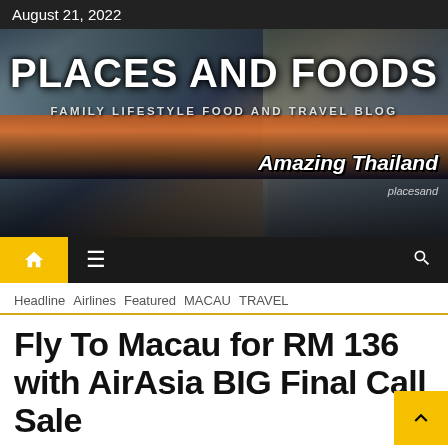August 21, 2022
[Figure (illustration): Places and Foods blog banner header with group photos and city night skyline. Title reads PLACES AND FOODS with subtitle FAMILY LIFESTYLE FOOD AND TRAVEL BLOG. Amazing Thailand overlay text visible.]
PLACES AND FOODS — FAMILY LIFESTYLE FOOD AND TRAVEL BLOG
Headline  Airlines  Featured  MACAU  TRAVEL
Fly To Macau for RM 136 with AirAsia BIG Final Call Sale